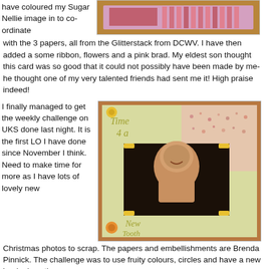[Figure (photo): Top partial photo of a handmade card with pink and red elements on a brown background]
have coloured my Sugar Nellie image in to co-ordinate with the 3 papers, all from the Glitterstack from DCWV. I have then added a some ribbon, flowers and a pink brad. My eldest son thought this card was so good that it could not possibly have been made by me- he thought one of my very talented friends had sent me it! High praise indeed!
[Figure (photo): Scrapbook layout page with yellow/green papers, yellow brad embellishments, and a photo of a young boy. Text reads 'Time 4 a New Tooth']
I finally managed to get the weekly challenge on UKS done last night. It is the first LO I have done since November I think. Need to make time for more as I have lots of lovely new Christmas photos to scrap. The papers and embellishments are Brenda Pinnick. The challenge was to use fruity colours, circles and have a new beginnings theme.